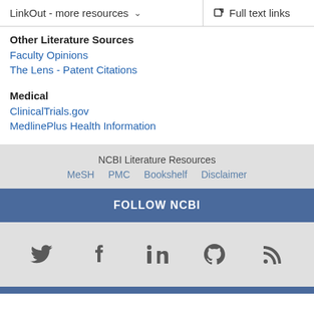LinkOut - more resources    Full text links
Other Literature Sources
Faculty Opinions
The Lens - Patent Citations
Medical
ClinicalTrials.gov
MedlinePlus Health Information
NCBI Literature Resources
MeSH   PMC   Bookshelf   Disclaimer
FOLLOW NCBI
[Figure (other): Social media icons: Twitter, Facebook, LinkedIn, GitHub, RSS feed]